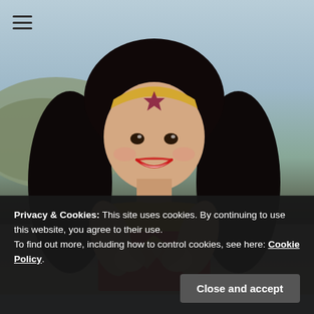[Figure (photo): Woman in Wonder Woman cosplay costume with golden tiara featuring a star, making a heart shape with her hands, smiling, standing on a road with hills and a power line in the background]
Privacy & Cookies: This site uses cookies. By continuing to use this website, you agree to their use.
To find out more, including how to control cookies, see here: Cookie Policy.
Close and accept